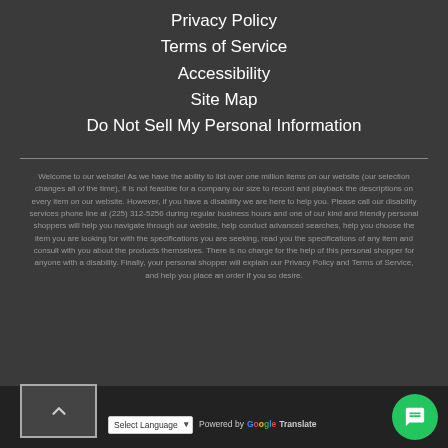Privacy Policy
Terms of Service
Accessibility
Site Map
Do Not Sell My Personal Information
Welcome to our website! As we have the ability to list over one million items on our website (our selection changes all of the time), it is not feasible for a company our size to record and playback the descriptions on every item on our website. However, if you have a disability we are here to help you. Please call our disability services phone line at (225) 312-5256 during regular business hours and one of our kind and friendly personal shoppers will help you navigate through our website, help conduct advanced searches, help you choose the item you are looking for with the specifications you are seeking, read you the specifications of any item and consult with you about the products themselves. There is no charge for the help of this personal shopper for anyone with a disability. Finally, your personal shopper will explain our Privacy Policy and Terms of Service, and help you place an order if you so desire.
Select Language  Powered by Google Translate